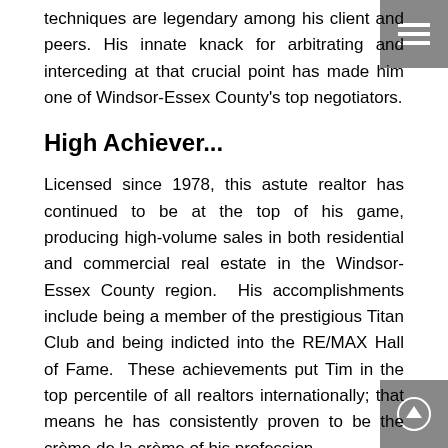techniques are legendary among his client and peers. His innate knack for arbitrating and interceding at that crucial point has made him one of Windsor-Essex County's top negotiators.
High Achiever...
Licensed since 1978, this astute realtor has continued to be at the top of his game, producing high-volume sales in both residential and commercial real estate in the Windsor-Essex County region.  His accomplishments include being a member of the prestigious Titan Club and being indicted into the RE/MAX Hall of Fame.  These achievements put Tim in the top percentile of all realtors internationally; that means he has consistently proven to be the crème de la crème of his profession.